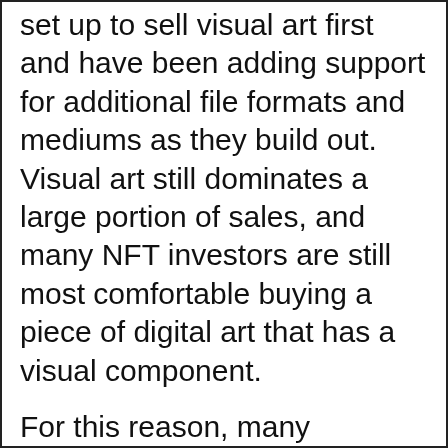set up to sell visual art first and have been adding support for additional file formats and mediums as they build out. Visual art still dominates a large portion of sales, and many NFT investors are still most comfortable buying a piece of digital art that has a visual component.
For this reason, many musicians started teaming up with visual artists. Attach some of your music to an animated clip or image that fits the mood and turn that into a traditional NFT. List for sale on any NFT marketplace and be sure to market to both of your fanbases. Just be sure to come to an agreement on the finances...